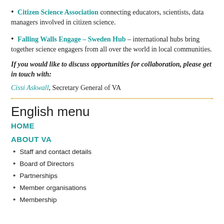Citizen Science Association connecting educators, scientists, data managers involved in citizen science.
Falling Walls Engage – Sweden Hub – international hubs bring together science engagers from all over the world in local communities.
If you would like to discuss opportunities for collaboration, please get in touch with:
Cissi Askwall, Secretary General of VA
English menu
HOME
ABOUT VA
Staff and contact details
Board of Directors
Partnerships
Member organisations
Membership